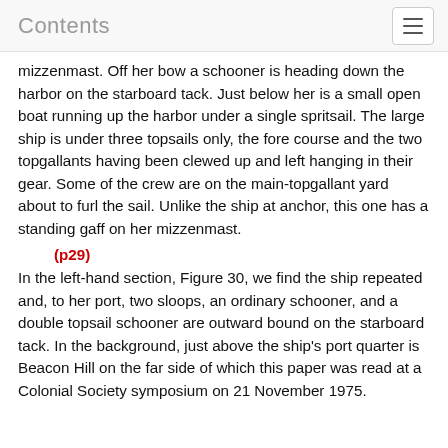Contents
mizzenmast. Off her bow a schooner is heading down the harbor on the starboard tack. Just below her is a small open boat running up the harbor under a single spritsail. The large ship is under three topsails only, the fore course and the two topgallants having been clewed up and left hanging in their gear. Some of the crew are on the main-topgallant yard about to furl the sail. Unlike the ship at anchor, this one has a standing gaff on her mizzenmast.
(p29)
In the left-hand section, Figure 30, we find the ship repeated and, to her port, two sloops, an ordinary schooner, and a double topsail schooner are outward bound on the starboard tack. In the background, just above the ship's port quarter is Beacon Hill on the far side of which this paper was read at a Colonial Society symposium on 21 November 1975.